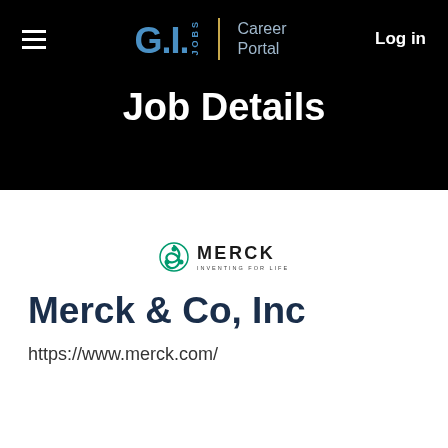G.I. Jobs | Career Portal — Log in
Job Details
[Figure (logo): Merck logo: green recycling-style icon with MERCK wordmark and 'INVENTING FOR LIFE' tagline]
Merck & Co, Inc
https://www.merck.com/